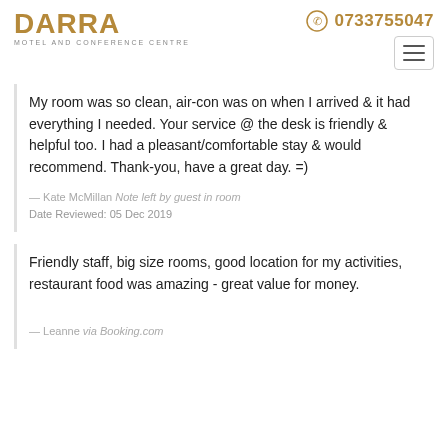DARRA MOTEL AND CONFERENCE CENTRE | 0733755047
My room was so clean, air-con was on when I arrived & it had everything I needed. Your service @ the desk is friendly & helpful too. I had a pleasant/comfortable stay & would recommend. Thank-you, have a great day. =)
— Kate McMillan Note left by guest in room
Date Reviewed: 05 Dec 2019
Friendly staff, big size rooms, good location for my activities, restaurant food was amazing - great value for money.
— Leanne via Booking.com